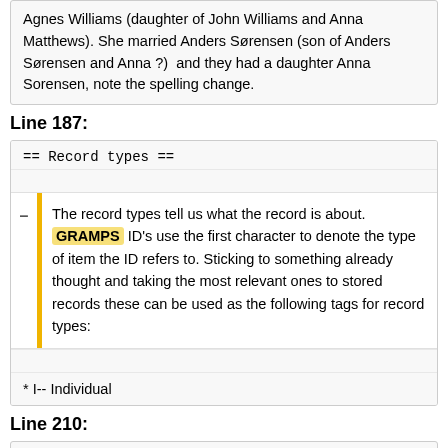Agnes Williams (daughter of John Williams and Anna Matthews). She married Anders Sørensen (son of Anders Sørensen and Anna ?)  and they had a daughter Anna Sorensen, note the spelling change.
Line 187:
== Record types ==
The record types tell us what the record is about. GRAMPS ID's use the first character to denote the type of item the ID refers to. Sticking to something already thought and taking the most relevant ones to stored records these can be used as the following tags for record types:
* I-- Individual
Line 210:
* family name is their surname before marriage, but including